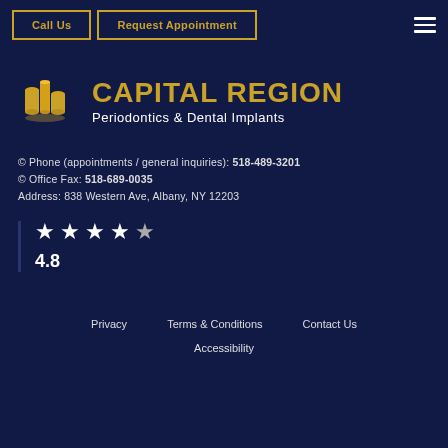Call Us | Request Appointment
[Figure (logo): Capital Region Periodontics & Dental Implants logo with golden building/cylinder icon]
© Phone (appointments / general inquiries): 518-489-3201
© Office Fax: 518-689-0035
Address: 838 Western Ave, Albany, NY 12203
★★★★★ 4.8
Privacy   Terms & Conditions   Contact Us
Accessibility